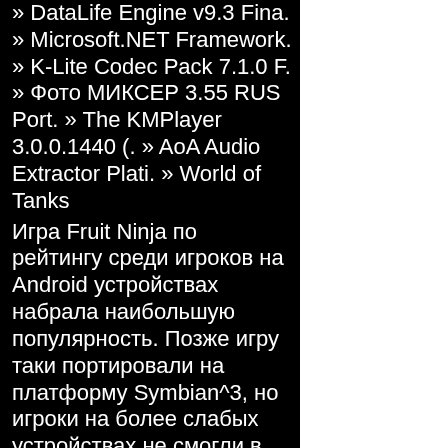» DataLife Engine v9.3 Fina. » Microsoft.NET Framework. » K-Lite Codec Pack 7.1.0 F. » Фото МИКСЕР 3.55 RUS Port. » The KMPlayer 3.0.0.1440 (. » AoA Audio Extractor Plati. » World of Tanks
Игра Fruit Ninja по рейтингу среди игроков на Android устройствах набрала наибольшую популярность. Позже игру таки портировали на платформу Symbian^3, но игроки на более слабых устройствах не смогли в нее играть, ввиду слабости железа. И вот была выпущена java версия, которая также